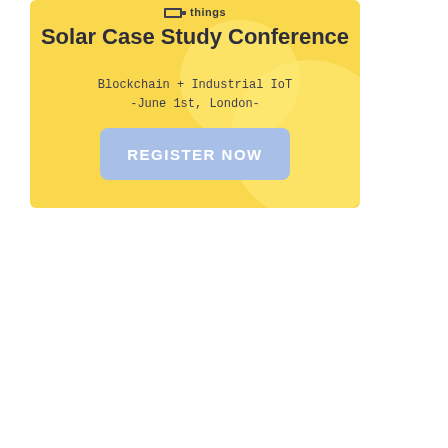[Figure (infographic): Solar Case Study Conference promotional banner on yellow background with decorative blob shapes, showing conference title, subtitle 'Blockchain + Industrial IoT -June 1st, London-', and a 'REGISTER NOW' button in light blue.]